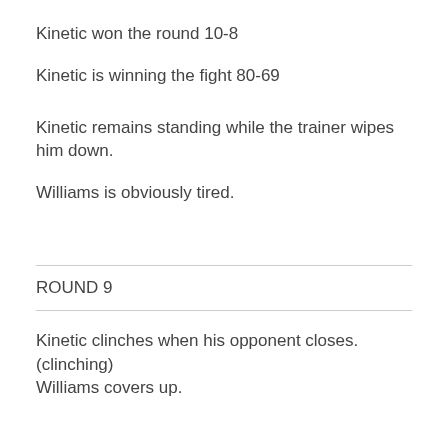Kinetic won the round 10-8
Kinetic is winning the fight 80-69
Kinetic remains standing while the trainer wipes him down.
Williams is obviously tired.
ROUND 9
Kinetic clinches when his opponent closes. (clinching)
Williams covers up.